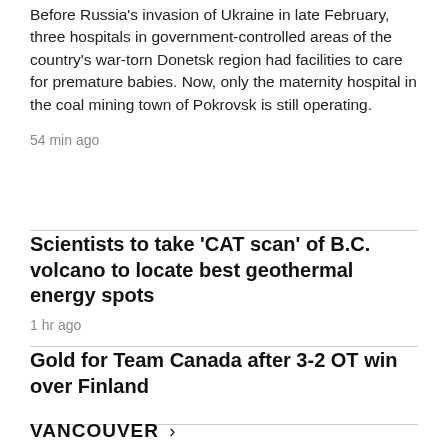Before Russia's invasion of Ukraine in late February, three hospitals in government-controlled areas of the country's war-torn Donetsk region had facilities to care for premature babies. Now, only the maternity hospital in the coal mining town of Pokrovsk is still operating.
54 min ago
Scientists to take 'CAT scan' of B.C. volcano to locate best geothermal energy spots
1 hr ago
Gold for Team Canada after 3-2 OT win over Finland
VANCOUVER >